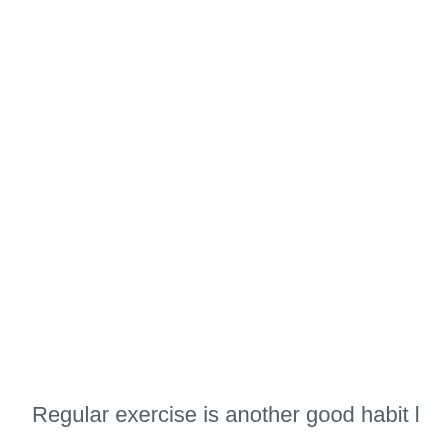Regular exercise is another good habit l